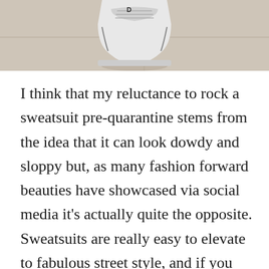[Figure (photo): Cropped photograph showing the bottom portion of a photo, depicting a floor or pavement surface in beige/tan tones with a white sneaker/shoe partially visible at the top center.]
I think that my reluctance to rock a sweatsuit pre-quarantine stems from the idea that it can look dowdy and sloppy but, as many fashion forward beauties have showcased via social media it's actually quite the opposite. Sweatsuits are really easy to elevate to fabulous street style, and if you have been struggling with the dowdy vs. stylish dilemma of how to rock a sweatsuit this post is for you. Here are my favourite ways